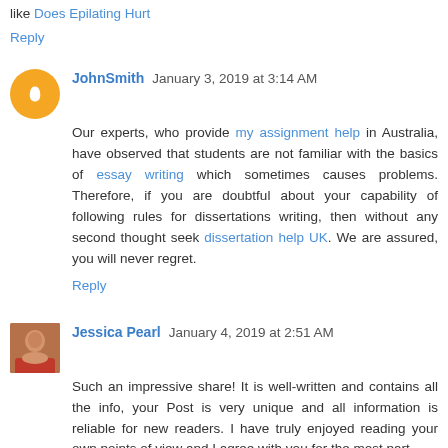Thanks for sharing such a nice and quality blog with us, I like Does Epilating Hurt
Reply
JohnSmith January 3, 2019 at 3:14 AM
Our experts, who provide my assignment help in Australia, have observed that students are not familiar with the basics of essay writing which sometimes causes problems. Therefore, if you are doubtful about your capability of following rules for dissertations writing, then without any second thought seek dissertation help UK. We are assured, you will never regret.
Reply
Jessica Pearl January 4, 2019 at 2:51 AM
Such an impressive share! It is well-written and contains all the info, your Post is very unique and all information is reliable for new readers. I have truly enjoyed reading your own points of view and I agree with you for the most part.